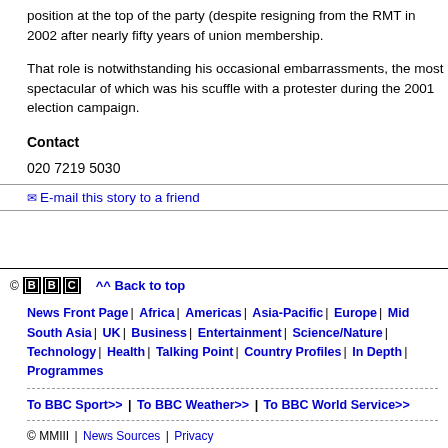position at the top of the party (despite resigning from the RMT in 2002 after nearly fifty years of union membership.
That role is notwithstanding his occasional embarrassments, the most spectacular of which was his scuffle with a protester during the 2001 election campaign.
Contact
020 7219 5030
✉ E-mail this story to a friend
© BBC ^^ Back to top | News Front Page | Africa | Americas | Asia-Pacific | Europe | Middle East | South Asia | UK | Business | Entertainment | Science/Nature | Technology | Health | Talking Point | Country Profiles | In Depth | Programmes | To BBC Sport>> | To BBC Weather>> | To BBC World Service>> | © MMIII | News Sources | Privacy